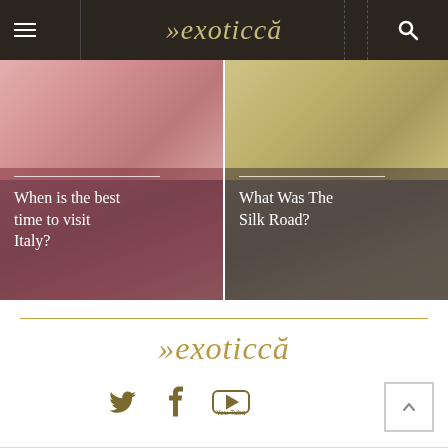exoticca
[Figure (photo): Two side-by-side blog post cards with overlay text. Left card shows an Italian street scene with pink/rosy tones and overlay text 'When is the best time to visit Italy?'. Right card shows a crowd in muted grey-gold tones with overlay text 'What Was The Silk Road?'.]
When is the best time to visit Italy?
What Was The Silk Road?
[Figure (logo): Exoticca logo in gold/tan color on white background]
[Figure (infographic): Social media icons: Twitter bird, Facebook f, YouTube play button, all in dark gold/olive color]